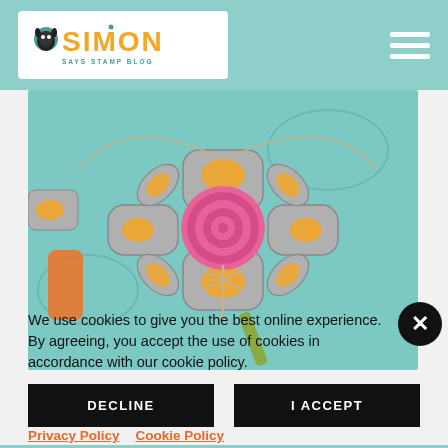[Figure (logo): Simon Says Stamp Blog logo with orange text and teal background, white box]
[Figure (photo): Close-up photo of decorative quilled flower craft in orange, pink and gray on teal background with twine bow]
We use cookies to give you the best online experience. By agreeing, you accept the use of cookies in accordance with our cookie policy.
DECLINE
I ACCEPT
Privacy Policy   Cookie Policy